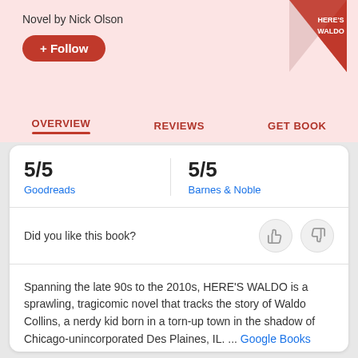Novel by Nick Olson
+ Follow
[Figure (illustration): Book cover for HERE'S WALDO with red and white design]
OVERVIEW | REVIEWS | GET BOOK
5/5
Goodreads
5/5
Barnes & Noble
Did you like this book?
Spanning the late 90s to the 2010s, HERE'S WALDO is a sprawling, tragicomic novel that tracks the story of Waldo Collins, a nerdy kid born in a torn-up town in the shadow of Chicago-unincorporated Des Plaines, IL. ... Google Books
Originally published: October 2020
Genre: Coming-of-age story